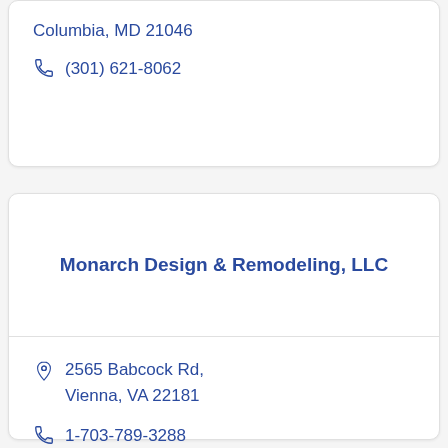Columbia, MD 21046
(301) 621-8062
Monarch Design & Remodeling, LLC
2565 Babcock Rd, Vienna, VA 22181
1-703-789-3288